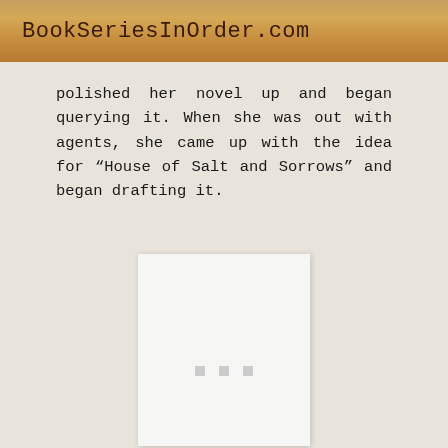BookSeriesInOrder.com
polished her novel up and began querying it. When she was out with agents, she came up with the idea for “House of Salt and Sorrows” and began drafting it.
[Figure (other): White panel/image area with three small gray loading dots centered in the lower portion, representing a loading book cover image placeholder.]